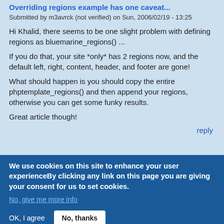Overriding regions example has one caveat...
Submitted by m3avrck (not verified) on Sun, 2006/02/19 - 13:25
Hi Khalid, there seems to be one slight problem with defining regions as bluemarine_regions() ...
If you do that, your site *only* has 2 regions now, and the default left, right, content, header, and footer are gone!
What should happen is you should copy the entire phptemplate_regions() and then append your regions, otherwise you can get some funky results.
Great article though!
reply
We use cookies on this site to enhance your user experienceBy clicking any link on this page you are giving your consent for us to set cookies.
No, give me more info
OK, I agree
No, thanks